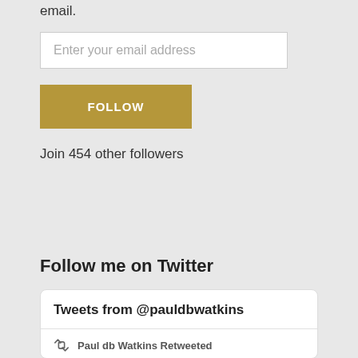email.
[Figure (other): Email address input field with placeholder text 'Enter your email address']
[Figure (other): Gold/yellow button with text 'FOLLOW']
Join 454 other followers
Follow me on Twitter
Tweets from @pauldbwatkins
Paul db Watkins Retweeted